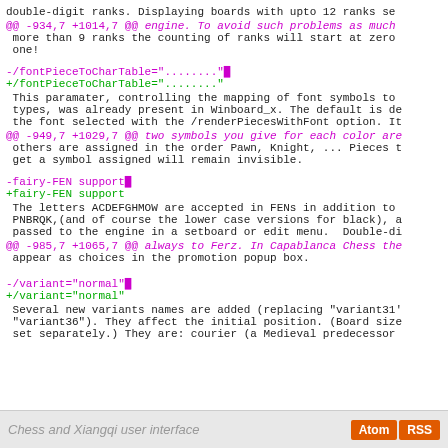double-digit ranks. Displaying boards with upto 12 ranks se
@@ -934,7 +1014,7 @@ engine. To avoid such problems as much more than 9 ranks the counting of ranks will start at zero one!
-/fontPieceToCharTable="........"
+/fontPieceToCharTable="........"
This paramater, controlling the mapping of font symbols to types, was already present in Winboard_x. The default is de the font selected with the /renderPiecesWithFont option. It
@@ -949,7 +1029,7 @@ two symbols you give for each color are others are assigned in the order Pawn, Knight, ... Pieces t get a symbol assigned will remain invisible.
-fairy-FEN support
+fairy-FEN support
The letters ACDEFGHMOW are accepted in FENs in addition to PNBRQK,(and of course the lower case versions for black), a passed to the engine in a setboard or edit menu. Double-di
@@ -985,7 +1065,7 @@ always to Ferz. In Capablanca Chess the appear as choices in the promotion popup box.
-/variant="normal"
+/variant="normal"
Several new variants names are added (replacing "variant31" "variant36"). They affect the initial position. (Board size set separately.) They are: courier (a Medieval predecessor
Chess and Xiangqi user interface   Atom  RSS